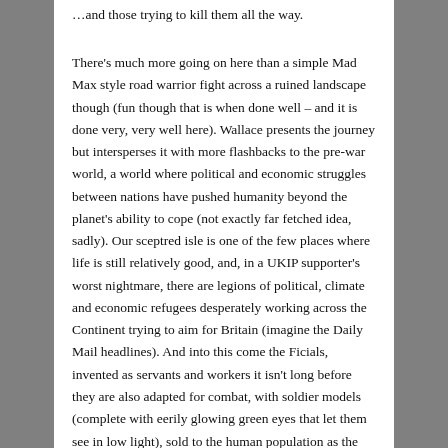…and those trying to kill them all the way.
There's much more going on here than a simple Mad Max style road warrior fight across a ruined landscape though (fun though that is when done well – and it is done very, very well here). Wallace presents the journey but intersperses it with more flashbacks to the pre-war world, a world where political and economic struggles between nations have pushed humanity beyond the planet's ability to cope (not exactly far fetched idea, sadly). Our sceptred isle is one of the few places where life is still relatively good, and, in a UKIP supporter's worst nightmare, there are legions of political, climate and economic refugees desperately working across the Continent trying to aim for Britain (imagine the Daily Mail headlines). And into this come the Ficials, invented as servants and workers it isn't long before they are also adapted for combat, with soldier models (complete with eerily glowing green eyes that let them see in low light), sold to the human population as the only resource we have to help us manage in this collapsing world and to keep out the ravening foreign hordes desperate to enter Britain. In true Frankenstein